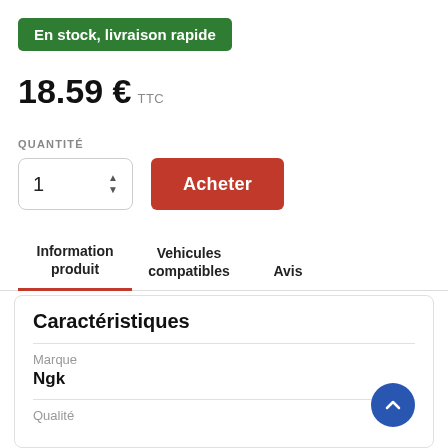En stock, livraison rapide
18.59 € TTC
QUANTITÉ
1  Acheter
Information produit   Vehicules compatibles   Avis
Caractéristiques
Marque
Ngk
Qualité